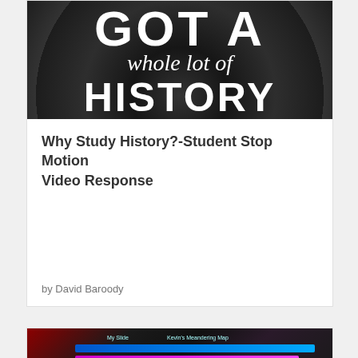[Figure (photo): Dark monochromatic crowd photo with overlaid white text reading 'GOT A whole lot of HISTORY']
Why Study History?-Student Stop Motion Video Response
by David Baroody
[Figure (screenshot): Screenshot of a digital timeline or video editing interface with colored horizontal bars on a dark background]